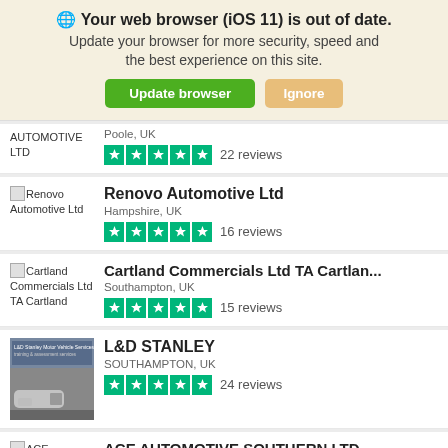🌐 Your web browser (iOS 11) is out of date. Update your browser for more security, speed and the best experience on this site.
Update browser | Ignore
AUTOMOTIVE LTD — Poole, UK — 22 reviews
[Figure (screenshot): Renovo Automotive Ltd listing with broken image placeholder, Hampshire UK, 5 green stars, 16 reviews]
[Figure (screenshot): Cartland Commercials Ltd TA Cartlan... listing with broken image placeholder, Southampton UK, 5 green stars, 15 reviews]
[Figure (screenshot): L&D STANLEY listing with photo of car dealership, SOUTHAMPTON UK, 5 green stars, 24 reviews]
[Figure (screenshot): ACE AUTOMOTIVE SOUTHERN LTD listing with broken image placeholder, partially visible]